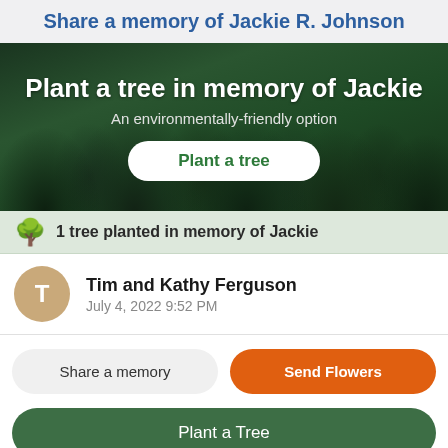Share a memory of Jackie R. Johnson
[Figure (illustration): Forest banner with text: Plant a tree in memory of Jackie. An environmentally-friendly option. White rounded button: Plant a tree.]
1 tree planted in memory of Jackie
Tim and Kathy Ferguson
July 4, 2022 9:52 PM
Share a memory
Send Flowers
Plant a Tree